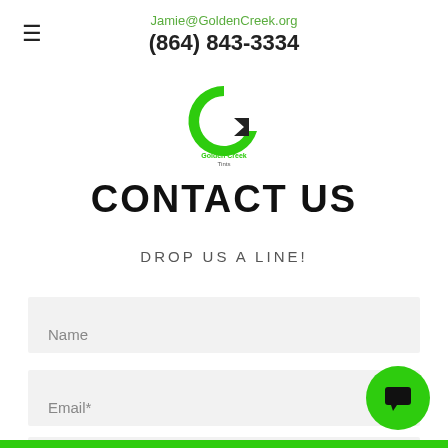Jamie@GoldenCreek.org
(864) 843-3334
[Figure (logo): Golden Creek Tints logo — green stylized G with arrow, text 'Golden Creek Tints' below]
CONTACT US
DROP US A LINE!
Name
Email*
Message